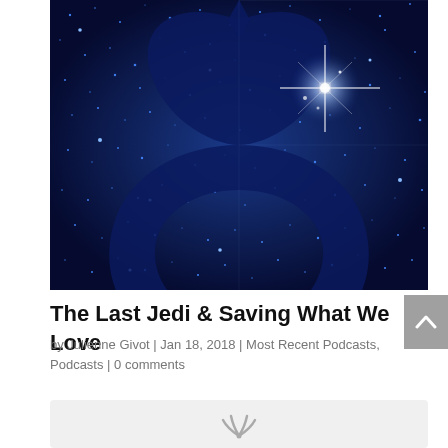[Figure (illustration): Star Wars Rebel Alliance symbol/logo on a deep blue starfield background with glowing stars and a bright star burst in the upper right]
The Last Jedi & Saving What We Love
by Julienne Givot | Jan 18, 2018 | Most Recent Podcasts,
Podcasts | 0 comments
[Figure (screenshot): Audio player widget with light gray background, partially visible at bottom of page]